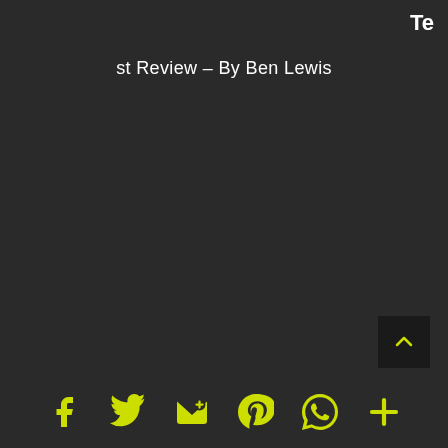Te
st Review – By Ben Lewis
[Figure (other): Scroll-to-top button with upward chevron arrow in yellow on dark background]
[Figure (other): Social sharing icons bar: Facebook, Twitter, Email, Pinterest, WhatsApp, More (plus sign) — all in yellow-green on dark background]